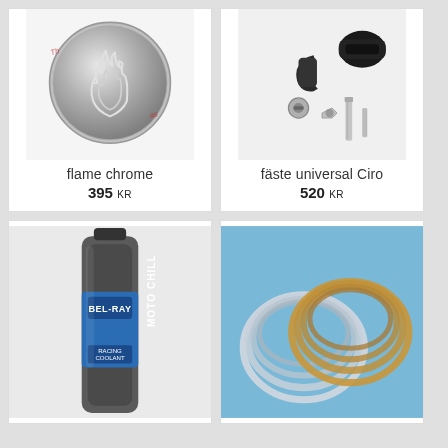[Figure (photo): Chrome flame decorative disc/cover with flame relief pattern]
flame chrome
395 KR
[Figure (photo): Universal mounting bracket Ciro with black plastic parts and metal screws and nuts]
fäste universal Ciro
520 KR
[Figure (photo): Bel-Ray Moto Chill Racing Coolant bottle]
[Figure (photo): Coils of clear and copper/gold wire tubing on blue background]